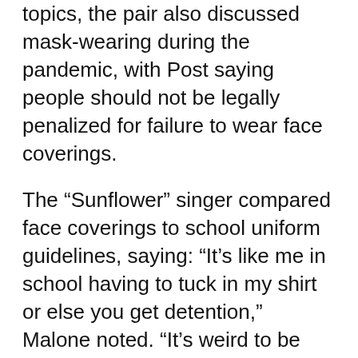topics, the pair also discussed mask-wearing during the pandemic, with Post saying people should not be legally penalized for failure to wear face coverings.
The “Sunflower” singer compared face coverings to school uniform guidelines, saying: “It’s like me in school having to tuck in my shirt or else you get detention,” Malone noted. “It’s weird to be forced to wear something.”
Rogan then pointed out that wearing a mask helps prevent coronavirus from spreading.
Post responded: “At the end of the day, it all comes down to respect for other people. It’s not a government thing. You shouldn’t be forced to wear a mask—but you should. And